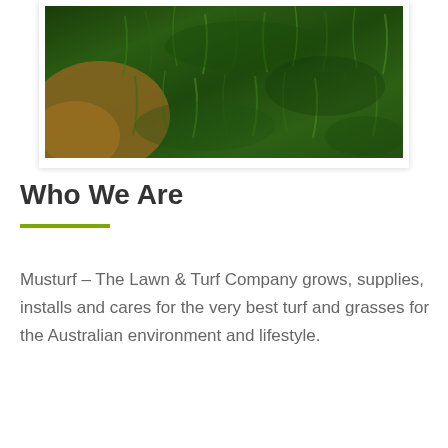[Figure (photo): Close-up photograph of dense green turf/grass with a patch of bare soil visible on the left side. The grass blades are dark green and tightly packed.]
Who We Are
Musturf – The Lawn & Turf Company grows, supplies, installs and cares for the very best turf and grasses for the Australian environment and lifestyle.